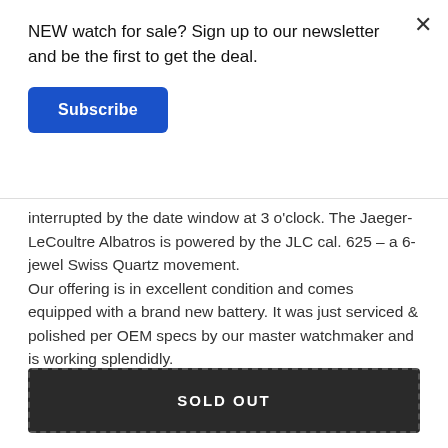NEW watch for sale? Sign up to our newsletter and be the first to get the deal.
Subscribe
interrupted by the date window at 3 o'clock. The Jaeger-LeCoultre Albatros is powered by the JLC cal. 625 – a 6-jewel Swiss Quartz movement.
Our offering is in excellent condition and comes equipped with a brand new battery. It was just serviced & polished per OEM specs by our master watchmaker and is working splendidly.
The watch is covered by 1 year of limited warranty, starting on the date of purchase.
SOLD OUT